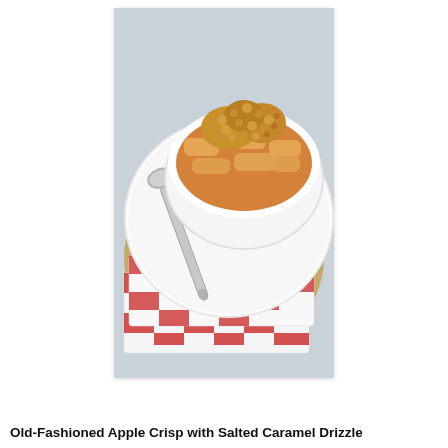[Figure (photo): Overhead photo of a white bowl filled with apple crisp topped with oat crumble, placed on a white plate with a silver spoon, set on red and white checkered linen napkins atop a burlap mat on a light wooden surface.]
Old-Fashioned Apple Crisp with Salted Caramel Drizzle